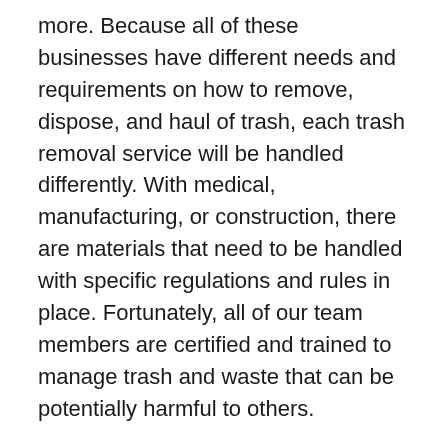more. Because all of these businesses have different needs and requirements on how to remove, dispose, and haul of trash, each trash removal service will be handled differently. With medical, manufacturing, or construction, there are materials that need to be handled with specific regulations and rules in place. Fortunately, all of our team members are certified and trained to manage trash and waste that can be potentially harmful to others.
While individuals companies and businesses will have different removal guidelines, our overall process is the same throughout. We schedule a time that is convenient for your business, arrive ready to remove trash, debris, and garbage from your commercial property, and haul it away to the proper disposal place. Our process is safe, easy, and quick, ensuring customers that they will have their trash and other debris removed from their office or building. If you need explicit information on what your trash removal service entails regarding your particular